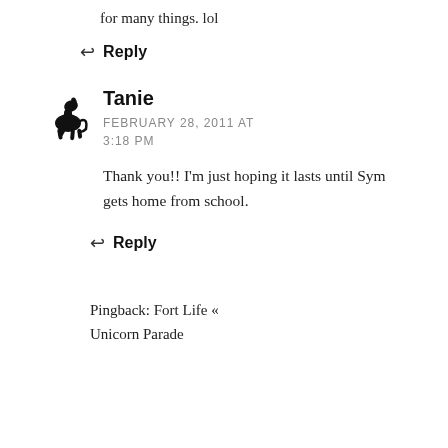for many things. lol
↩ Reply
Tanie
FEBRUARY 28, 2011 AT 3:18 PM
Thank you!! I'm just hoping it lasts until Sym gets home from school.
↩ Reply
Pingback: Fort Life « Unicorn Parade